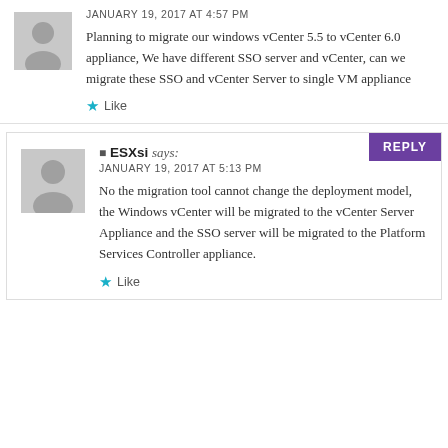JANUARY 19, 2017 AT 4:57 PM
Planning to migrate our windows vCenter 5.5 to vCenter 6.0 appliance, We have different SSO server and vCenter, can we migrate these SSO and vCenter Server to single VM appliance
Like
ESXsi says:
JANUARY 19, 2017 AT 5:13 PM
No the migration tool cannot change the deployment model, the Windows vCenter will be migrated to the vCenter Server Appliance and the SSO server will be migrated to the Platform Services Controller appliance.
Like